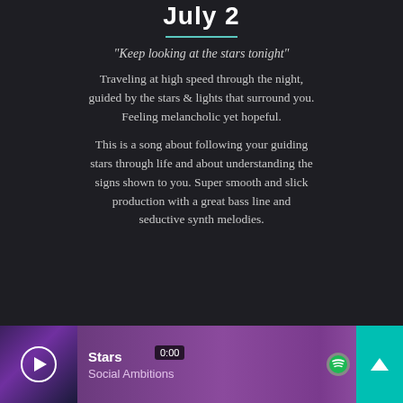July 2
“Keep looking at the stars tonight”
Traveling at high speed through the night, guided by the stars & lights that surround you. Feeling melancholic yet hopeful.
This is a song about following your guiding stars through life and about understanding the signs shown to you. Super smooth and slick production with a great bass line and seductive synth melodies.
[Figure (screenshot): Music player widget showing 'Stars' by Social Ambitions with a teal/purple gradient background, play button, Spotify icon, and up arrow button. Timestamp showing 0:00.]